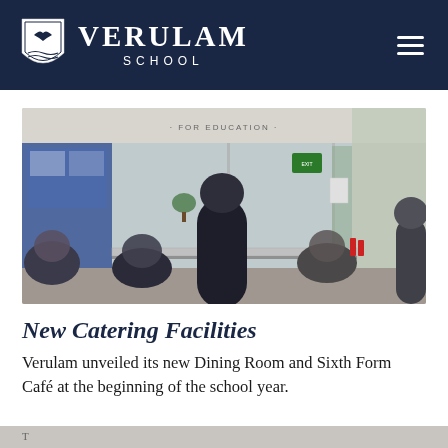VERULAM SCHOOL
[Figure (photo): School dining hall catering counter with students queuing, serving area visible behind glass panels, sign reading FOR EDUCATION above]
New Catering Facilities
Verulam unveiled its new Dining Room and Sixth Form Café at the beginning of the school year.